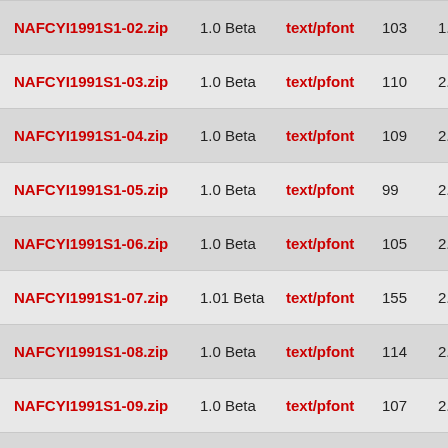| Name | Version | Type | Files | Size | Date |
| --- | --- | --- | --- | --- | --- |
| NAFCYI1991S1-02.zip | 1.0 Beta | text/pfont | 103 | 1.9M | 202 |
| NAFCYI1991S1-03.zip | 1.0 Beta | text/pfont | 110 | 2.0M | 202 |
| NAFCYI1991S1-04.zip | 1.0 Beta | text/pfont | 109 | 2.0M | 202 |
| NAFCYI1991S1-05.zip | 1.0 Beta | text/pfont | 99 | 2.3M | 202 |
| NAFCYI1991S1-06.zip | 1.0 Beta | text/pfont | 105 | 2.1M | 202 |
| NAFCYI1991S1-07.zip | 1.01 Beta | text/pfont | 155 | 2.0M | 202 |
| NAFCYI1991S1-08.zip | 1.0 Beta | text/pfont | 114 | 2.1M | 202 |
| NAFCYI1991S1-09.zip | 1.0 Beta | text/pfont | 107 | 2.2M | 202 |
| NAFCYI1991S1-10.zip | 1.01 Beta | text/pfont | 158 | 1.9M | 202 |